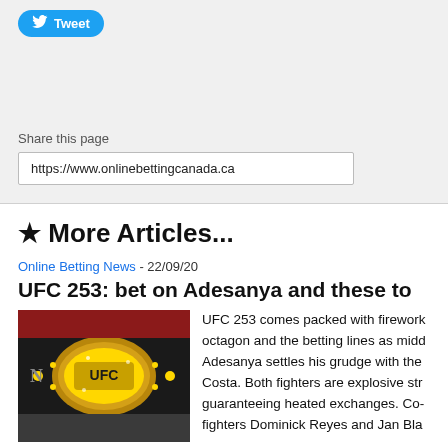[Figure (screenshot): Twitter Tweet button with bird icon]
Share this page
https://www.onlinebettingcanada.ca
★ More Articles...
Online Betting News - 22/09/20
UFC 253: bet on Adesanya and these to
[Figure (photo): UFC championship belt, gold and black, on display]
UFC 253 comes packed with fireworks in the octagon and the betting lines as middle... Adesanya settles his grudge with the... Costa. Both fighters are explosive str... guaranteeing heated exchanges. Co-fighters Dominick Reyes and Jan Bla...
vacant light heavyweight title. Let's break down these fights and a